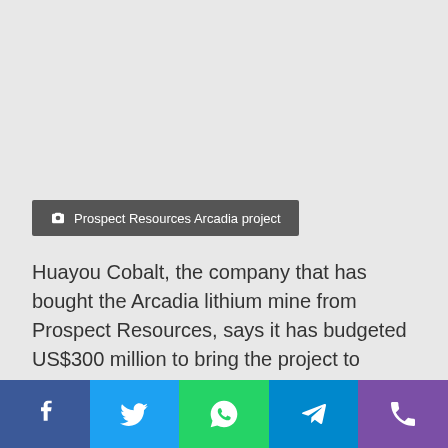Prospect Resources Arcadia project
Huayou Cobalt, the company that has bought the Arcadia lithium mine from Prospect Resources, says it has budgeted US$300 million to bring the project to production.
The company bought Arcadia for US$422 million in December, in the largest of a series of acquisitions in Zimbabwe by mostly Chinese and UK firms looking to secure supplies of in-demand lithium.
[Figure (infographic): Social media sharing bar with Facebook, Twitter, WhatsApp, Telegram, and phone icons]